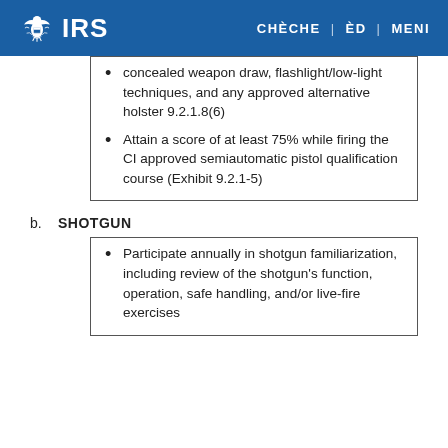IRS | CHÈCHE | ÈD | MENI
concealed weapon draw, flashlight/low-light techniques, and any approved alternative holster 9.2.1.8(6)
Attain a score of at least 75% while firing the CI approved semiautomatic pistol qualification course (Exhibit 9.2.1-5)
b. SHOTGUN
Participate annually in shotgun familiarization, including review of the shotgun's function, operation, safe handling, and/or live-fire exercises